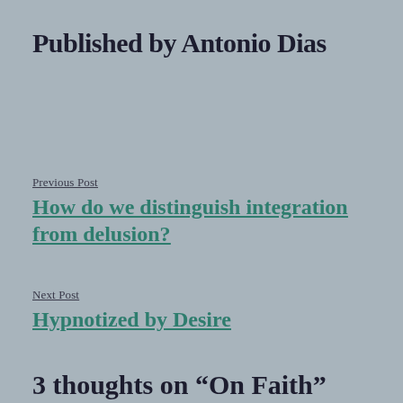Published by Antonio Dias
Previous Post
How do we distinguish integration from delusion?
Next Post
Hypnotized by Desire
3 thoughts on “On Faith”